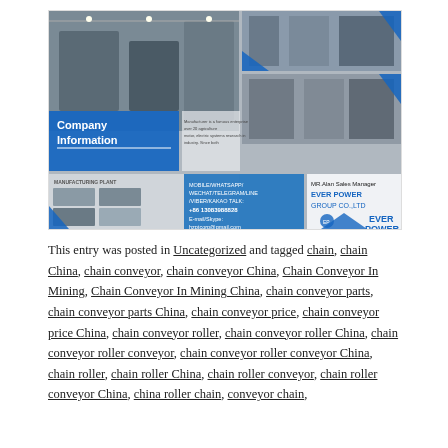[Figure (photo): Company Information banner showing manufacturing plant photos, contact details for MR. Alan Sales Manager, EVER POWER GROUP CO.,LTD, with phone +86 13083988828 and email hzptcorp@gmail.com]
This entry was posted in Uncategorized and tagged chain, chain China, chain conveyor, chain conveyor China, Chain Conveyor In Mining, Chain Conveyor In Mining China, chain conveyor parts, chain conveyor parts China, chain conveyor price, chain conveyor price China, chain conveyor roller, chain conveyor roller China, chain conveyor roller conveyor, chain conveyor roller conveyor China, chain roller, chain roller China, chain roller conveyor, chain roller conveyor China, china roller chain, conveyor chain,